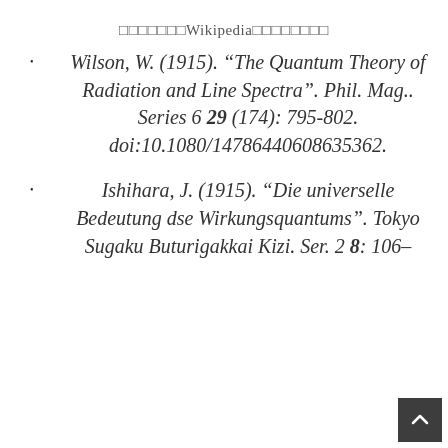□□□□□□□Wikipedia□□□□□□□□
Wilson, W. (1915). “The Quantum Theory of Radiation and Line Spectra”. Phil. Mag.. Series 6 29 (174): 795-802. doi:10.1080/14786440608635362.
Ishihara, J. (1915). “Die universelle Bedeutung dse Wirkungsquantums”. Tokyo Sugaku Buturigakkai Kizi. Ser. 2 8: 106–